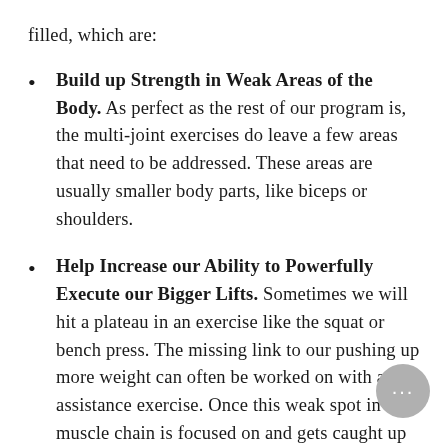filled, which are:
Build up Strength in Weak Areas of the Body. As perfect as the rest of our program is, the multi-joint exercises do leave a few areas that need to be addressed. These areas are usually smaller body parts, like biceps or shoulders.
Help Increase our Ability to Powerfully Execute our Bigger Lifts. Sometimes we will hit a plateau in an exercise like the squat or bench press. The missing link to our pushing up more weight can often be worked on with an assistance exercise. Once this weak spot in our muscle chain is focused on and gets caught up to speed our plateau is overcome and we are back to making quick progress!